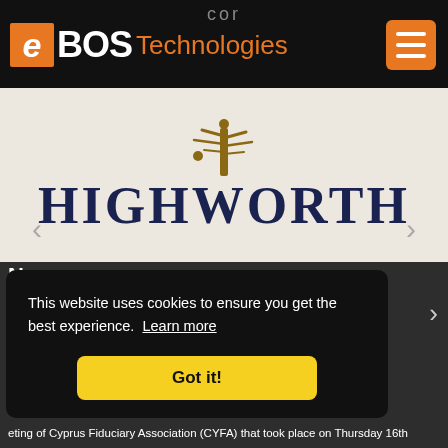cor
[Figure (logo): eBOS Technologies logo with orange 'e' icon, bold white BOS text, and orange Technologies text on dark background, plus orange hamburger menu button]
[Figure (logo): Highworth brand logo in dark navy serif font with decorative tree graphic above, displayed on light cream/beige background with navigation arrows]
This website uses cookies to ensure you get the best experience.  Learn more
Got it!
eting of Cyprus Fiduciary Association (CYFA) that took place on Thursday 16th